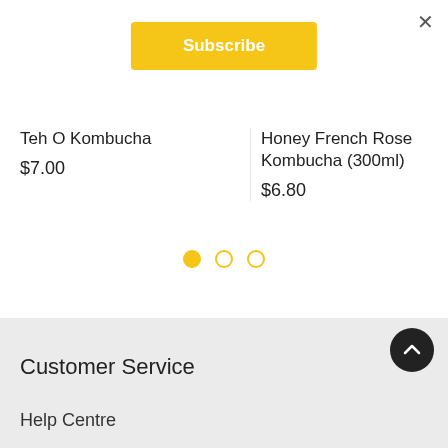×
Subscribe
Teh O Kombucha
$7.00
Honey French Rose Kombucha (300ml)
$6.80
Customer Service
Help Centre